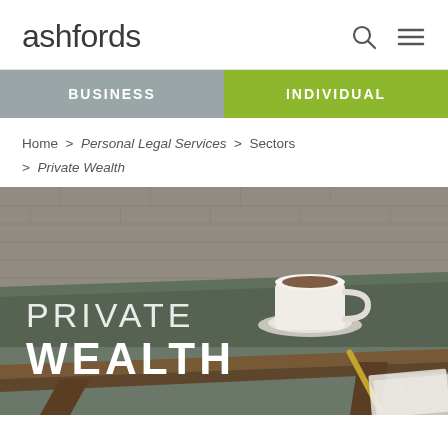ashfords
BUSINESS   INDIVIDUAL
Home > Personal Legal Services > Sectors > Private Wealth
[Figure (photo): Hero image showing a glass-topped wooden desk with a white coffee cup and saucer, a golden pen, and papers, against a white-painted brick wall background. Overlaid text reads PRIVATE WEALTH.]
PRIVATE WEALTH